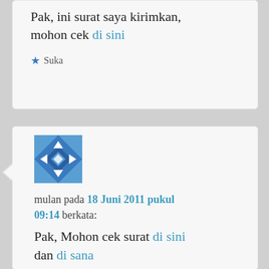Pak, ini surat saya kirimkan, mohon cek di sini
★ Suka
[Figure (illustration): User avatar — blue geometric/mosaic pattern avatar image]
mulan pada 18 Juni 2011 pukul 09:14 berkata:
Pak, Mohon cek surat di sini dan di sana